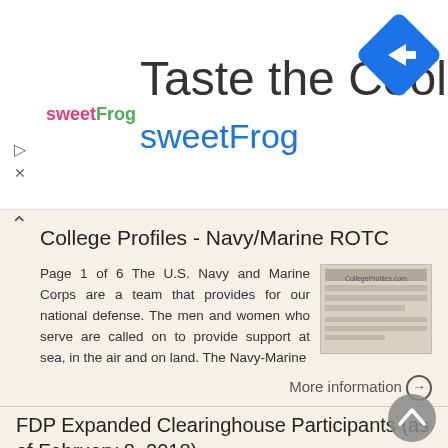[Figure (infographic): Advertisement banner for sweetFrog frozen yogurt: logo, 'Taste the Cool' headline, 'sweetFrog' subtitle in blue, map/navigation icon on right]
College Profiles - Navy/Marine ROTC
Page 1 of 6 The U.S. Navy and Marine Corps are a team that provides for our national defense. The men and women who serve are called on to provide support at sea, in the air and on land. The Navy-Marine
More information →
FDP Expanded Clearinghouse Participants (as of February 8, 2018)
Arizona State University Augusta University Research Institute, Inc. Ball State University Beckman Research Institute of the City of Hope, Boston College, Boston University